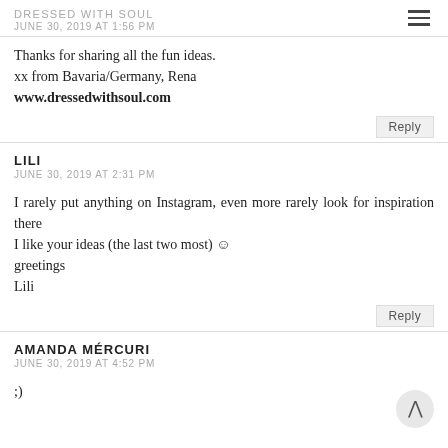DRESSED WITH SOUL
JUNE 30, 2019 AT 1:56 PM
Thanks for sharing all the fun ideas.
xx from Bavaria/Germany, Rena
www.dressedwithsoul.com
Reply
LILI
JUNE 30, 2019 AT 2:31 PM
I rarely put anything on Instagram, even more rarely look for inspiration there
I like your ideas (the last two most) ☺
greetings
Lili
Reply
AMANDA MÉRCURI
JUNE 30, 2019 AT 4:52 PM
;)